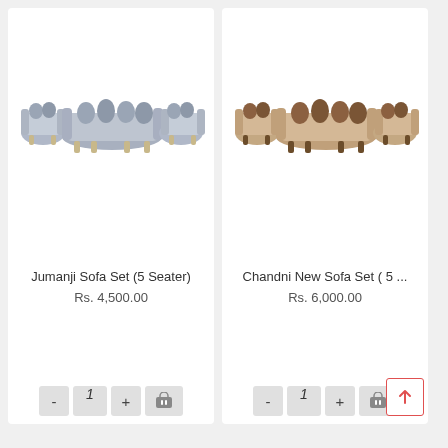[Figure (photo): Jumanji Sofa Set (5 Seater) - grey velvet sofa set with 3-seater and two 1-seater chairs with decorative cushions]
Jumanji Sofa Set (5 Seater)
Rs. 4,500.00
[Figure (photo): Chandni New Sofa Set (5 ...) - beige/brown textured fabric sofa set with 3-seater and two 1-seater chairs with decorative cushions]
Chandni New Sofa Set ( 5 ...
Rs. 6,000.00